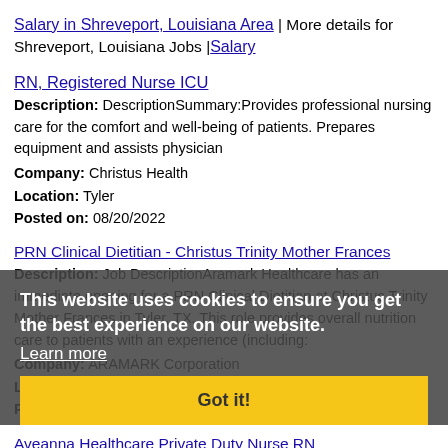Salary in Shreveport, Louisiana Area | More details for Shreveport, Louisiana Jobs |Salary
RN, Registered Nurse ICU
Description: DescriptionSummary:Provides professional nursing care for the comfort and well-being of patients. Prepares equipment and assists physician
Company: Christus Health
Location: Tyler
Posted on: 08/20/2022
PRN Clinical Dietitian - Christus Trinity Mother Frances
Description: Job DescriptionAramark Healthcare has an immediate opening for a PRN Clinical Dietitian at Christus Trinity Mother Frances in Tyler, TX. This role provides overall nutrition care to patients with an experience (including:
Company: ARAMARK Corporation
Location: Tyler
Posted on: 08/20/2022
This website uses cookies to ensure you get the best experience on our website.
Learn more
Got it!
Aveanna Healthcare Private Duty Nurse RN
Description: Registered Nurse RN Locations: Palestine and the surrounding areas. -Aveanna Healthcare, the largest pediatric